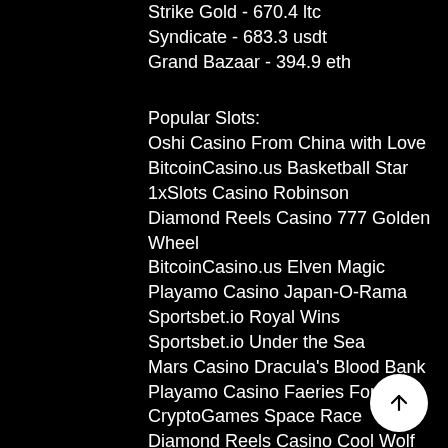Strike Gold - 670.4 ltc
Syndicate - 683.3 usdt
Grand Bazaar - 394.9 eth
Popular Slots:
Oshi Casino From China with Love
BitcoinCasino.us Basketball Star
1xSlots Casino Robinson
Diamond Reels Casino 777 Golden Wheel
BitcoinCasino.us Elven Magic
Playamo Casino Japan-O-Rama
Sportsbet.io Royal Wins
Sportsbet.io Under the Sea
Mars Casino Dracula's Blood Bank
Playamo Casino Faeries Fortune
CryptoGames Space Race
Diamond Reels Casino Cool Wolf
22Bet Casino Zhao Cai Jin Bao
Sportsbet.io Winner´s Cup
FortuneJack Casino Kings of Cash